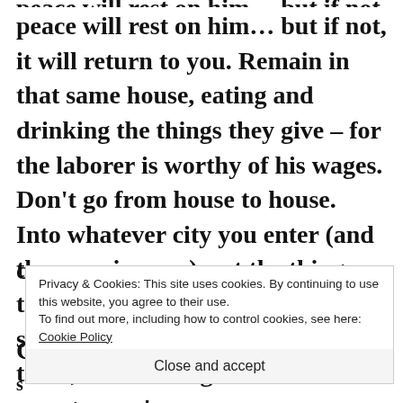peace will rest on him… but if not, it will return to you. Remain in that same house, eating and drinking the things they give – for the laborer is worthy of his wages. Don't go from house to house. Into whatever city you enter (and they receive you), eat the things that are set before you. Heal the sick who are therein, and tell them, 'God's Kingdom has come near to you.'
Privacy & Cookies: This site uses cookies. By continuing to use this website, you agree to their use. To find out more, including how to control cookies, see here: Cookie Policy
Close and accept